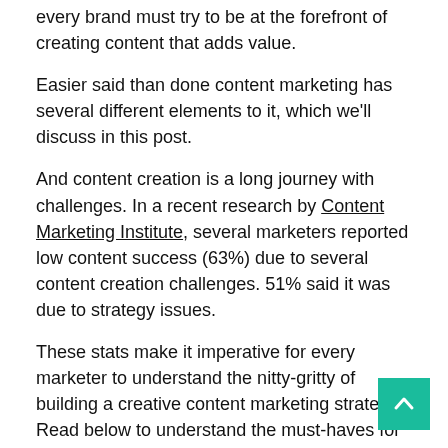every brand must try to be at the forefront of creating content that adds value.
Easier said than done content marketing has several different elements to it, which we'll discuss in this post.
And content creation is a long journey with challenges. In a recent research by Content Marketing Institute, several marketers reported low content success (63%) due to several content creation challenges. 51% said it was due to strategy issues.
These stats make it imperative for every marketer to understand the nitty-gritty of building a creative content marketing strategy. Read below to understand the must-haves for your content marketing strategy.
Must-haves for your brand's creative content marketing strategy
Frequent content audits